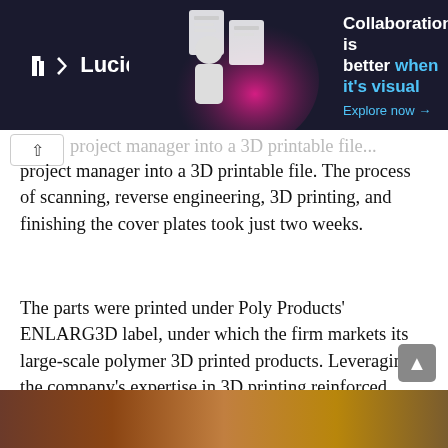[Figure (screenshot): Lucid advertisement banner with dark background showing 'Collaboration is better when it's visual' with cyan accent text and Explore now arrow link]
project manager into a 3D printable file. The process of scanning, reverse engineering, 3D printing, and finishing the cover plates took just two weeks.
The parts were printed under Poly Products' ENLARG3D label, under which the firm markets its large-scale polymer 3D printed products. Leveraging the company's expertise in 3D printing reinforced plastic parts, the cover plates were printed in fiber-reinforced PETG using a CEAD Prime 3D printer. The printer's 4×2 meter print bed was capable of printing the cover plates, which each span half a meter long. The parts were then finished with a fiberglass layer to make them waterproof.